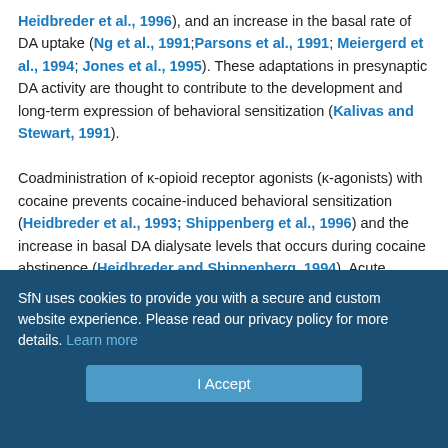Heidbreder et al., 1996), and an increase in the basal rate of DA uptake (Ng et al., 1991;Parsons et al., 1991; Meiergerd et al., 1994; Jones et al., 1995). These adaptations in presynaptic DA activity are thought to contribute to the development and long-term expression of behavioral sensitization (Kalivas and Stewart, 1991).

Coadministration of κ-opioid receptor agonists (κ-agonists) with cocaine prevents cocaine-induced behavioral sensitization (Heidbreder et al., 1993; Shippenberg et al., 1996) and the increase in basal DA dialysate levels that occurs during cocaine abstinence (Heidbreder and Shippenberg, 1994). Acute administration of κ-agonists decreases DA levels in the Acb (DiChiara and Imperato, 1988; Donzanti et al., 1992;Maisonneuve
SfN uses cookies to provide you with a secure and custom website experience. Please read our privacy policy for more details. Learn more